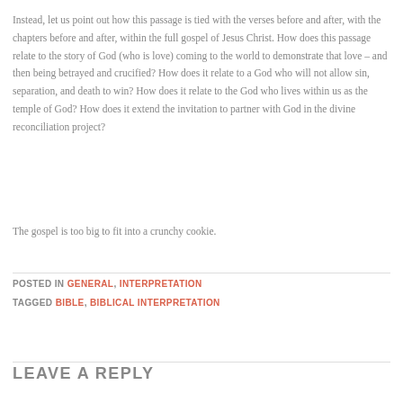Instead, let us point out how this passage is tied with the verses before and after, with the chapters before and after, within the full gospel of Jesus Christ. How does this passage relate to the story of God (who is love) coming to the world to demonstrate that love – and then being betrayed and crucified? How does it relate to a God who will not allow sin, separation, and death to win? How does it relate to the God who lives within us as the temple of God? How does it extend the invitation to partner with God in the divine reconciliation project?
The gospel is too big to fit into a crunchy cookie.
POSTED IN GENERAL, INTERPRETATION
TAGGED BIBLE, BIBLICAL INTERPRETATION
LEAVE A REPLY